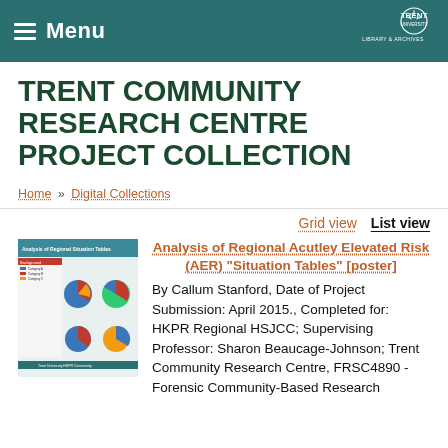Menu | Trent University Library & Archives
TRENT COMMUNITY RESEARCH CENTRE PROJECT COLLECTION
Home » Digital Collections
Grid view   List view
[Figure (other): Thumbnail image of Analysis of Regional Situation Tables poster showing pie charts]
Analysis of Regional Acutley Elevated Risk (AER) "Situation Tables" [poster]
By Callum Stanford, Date of Project Submission: April 2015., Completed for: HKPR Regional HSJCC; Supervising Professor: Sharon Beaucage-Johnson; Trent Community Research Centre, FRSC4890 - Forensic Community-Based Research